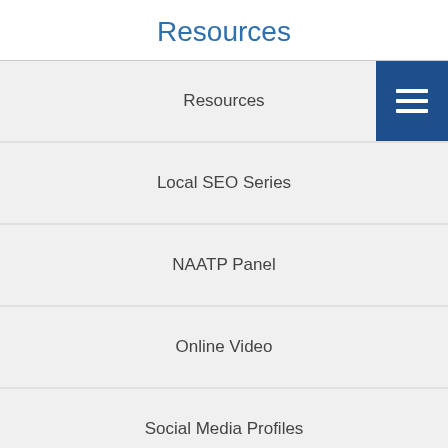Resources
Resources
Local SEO Series
NAATP Panel
Online Video
Social Media Profiles
Welcome to A.I.R.